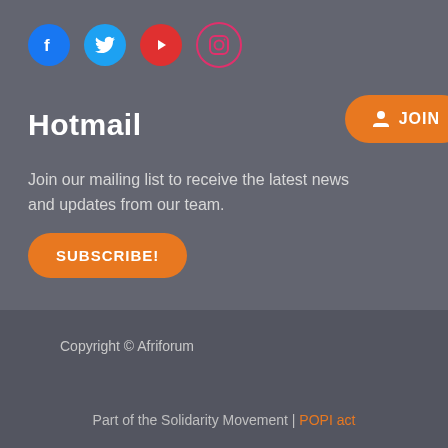[Figure (other): Social media icons: Facebook (blue circle), Twitter (blue circle), YouTube (red circle), Instagram (outline circle with pink border)]
Hotmail
Join our mailing list to receive the latest news and updates from our team.
[Figure (other): Orange SUBSCRIBE! button]
[Figure (other): Orange JOIN button with icon, partially visible at right edge]
Copyright © Afriforum
Part of the Solidarity Movement | POPI act